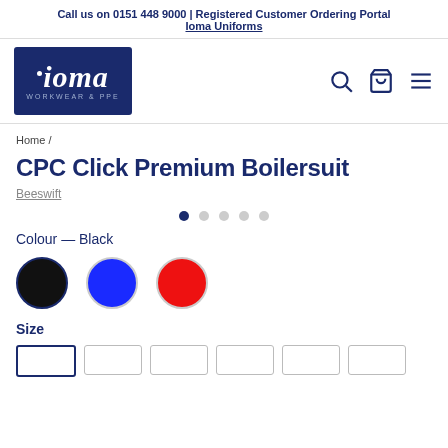Call us on 0151 448 9000 | Registered Customer Ordering Portal
Ioma Uniforms
[Figure (logo): IOMA Workwear & PPE logo — dark navy rectangle with italic white 'ioma' text and small tagline 'WORKWEAR & PPE']
Home /
CPC Click Premium Boilersuit
Beeswift
[Figure (other): Carousel pagination dots: 5 dots, first one filled navy, rest grey]
Colour — Black
[Figure (other): Three colour swatches: Black (selected, navy border), Blue, Red]
Size
[Figure (other): Size selector boxes: 6 empty size boxes, first one selected (navy border)]